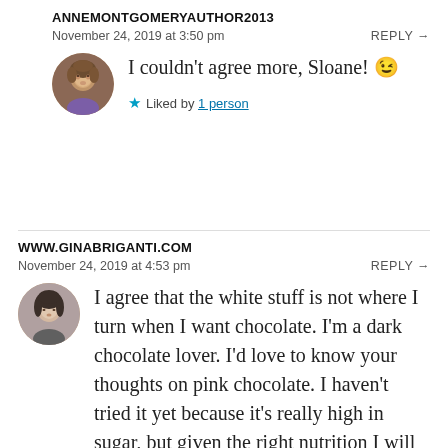ANNEMONTGOMERYAUTHOR2013
November 24, 2019 at 3:50 pm
REPLY →
[Figure (photo): Round avatar photo of a woman with curly hair wearing a purple top]
I couldn't agree more, Sloane! 😉
★ Liked by 1 person
WWW.GINABRIGANTI.COM
November 24, 2019 at 4:53 pm
REPLY →
[Figure (photo): Round avatar photo of a woman with dark hair, neutral expression]
I agree that the white stuff is not where I turn when I want chocolate. I'm a dark chocolate lover. I'd love to know your thoughts on pink chocolate. I haven't tried it yet because it's really high in sugar, but given the right nutrition I will definitely give it a go.